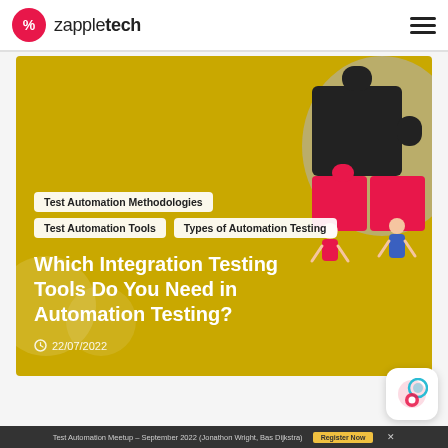zappletech
[Figure (illustration): Hero banner with gold/yellow background showing tags 'Test Automation Methodologies', 'Test Automation Tools', 'Types of Automation Testing', article title 'Which Integration Testing Tools Do You Need in Automation Testing?', date 22/07/2022, and decorative puzzle-piece illustration with figures on right side]
Which Integration Testing Tools Do You Need in Automation Testing?
22/07/2022
Test Automation Meetup – September 2022 (Jonathon Wright, Bas Dijkstra)